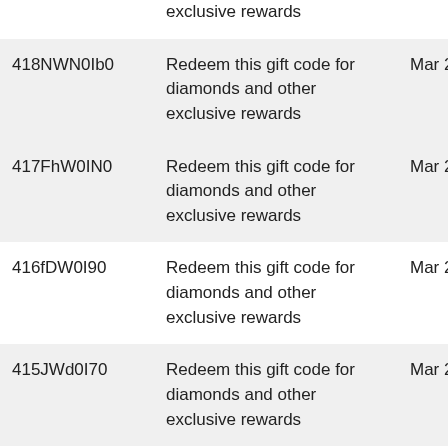| Code | Description | Date |
| --- | --- | --- |
|  | exclusive rewards |  |
| 418NWN0Ib0 | Redeem this gift code for diamonds and other exclusive rewards | Mar 2022 |
| 417FhW0IN0 | Redeem this gift code for diamonds and other exclusive rewards | Mar 2022 |
| 416fDW0I90 | Redeem this gift code for diamonds and other exclusive rewards | Mar 2022 |
| 415JWd0I70 | Redeem this gift code for diamonds and other exclusive rewards | Mar 2022 |
| 414... | Redeem this gift code... | Feb... |